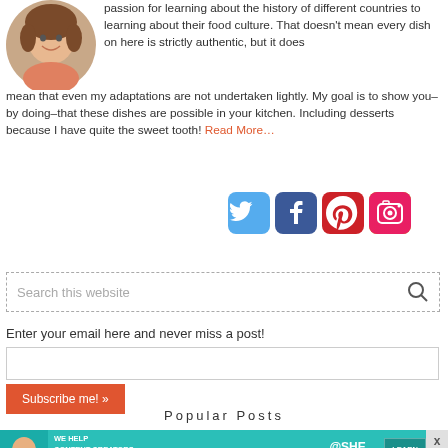[Figure (photo): Circular profile photo of a smiling woman with dark hair]
passion for learning about the history of different countries to learning about their food culture. That doesn't mean every dish on here is strictly authentic, but it does mean that even my adaptations are not undertaken lightly. My goal is to show you–by doing–that these dishes are possible in your kitchen. Including desserts because I have quite the sweet tooth! Read More…
[Figure (infographic): Four social media icons: Twitter (blue bird), Facebook (blue f), Pinterest (red P), Instagram (camera)]
Search this website
Enter your email here and never miss a post!
Subscribe me! »
Popular Posts
[Figure (infographic): SHE Media partner network advertisement banner: WE HELP CONTENT CREATORS GROW BUSINESSES THROUGH... with LEARN MORE button]